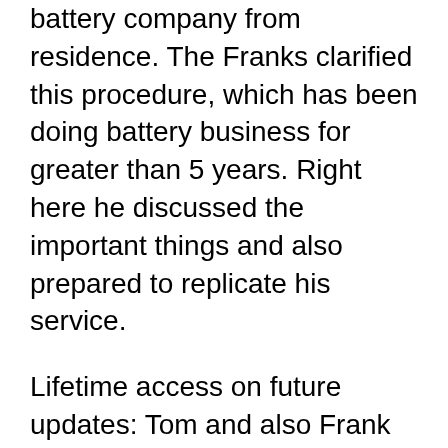battery company from residence. The Franks clarified this procedure, which has been doing battery business for greater than 5 years. Right here he discussed the important things and also prepared to replicate his service.
Lifetime access on future updates: Tom and also Frank made an internet site for the participants, which work as an EZ Battery Reconditioning online forum, where members can go over and also share their concepts. Besides, course makers join the discussion as well and give a remedy if there are any kind of issues.
In addition to these bonuses, the book includes all the referrals concerning the